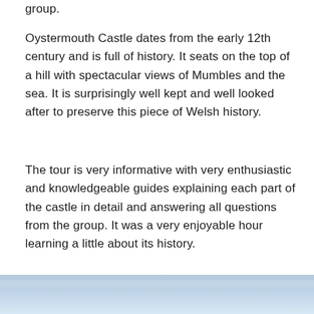group.
Oystermouth Castle dates from the early 12th century and is full of history. It seats on the top of a hill with spectacular views of Mumbles and the sea. It is surprisingly well kept and well looked after to preserve this piece of Welsh history.
The tour is very informative with very enthusiastic and knowledgeable guides explaining each part of the castle in detail and answering all questions from the group. It was a very enjoyable hour learning a little about its history.
[Figure (photo): Blue-toned sky or sea photograph visible at the bottom of the page]